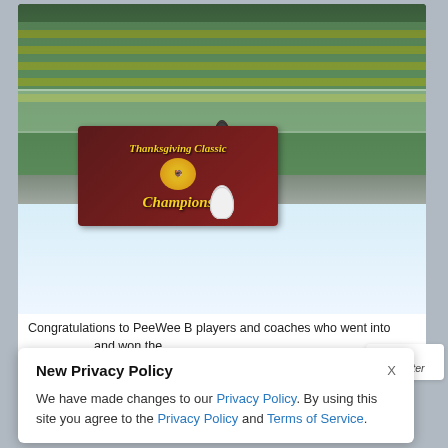[Figure (photo): Group photo of PeeWee B hockey team and coaches on the ice at an arena, holding a 'Thanksgiving Classic Champions' banner. Players wear white jerseys with red accents. Coaches in dark and casual clothing stand at the sides. Multiple players display medals.]
Congratulations to PeeWee B players and coaches who went into and won the
Whalers Webmaster
New Privacy Policy

We have made changes to our Privacy Policy. By using this site you agree to the Privacy Policy and Terms of Service.